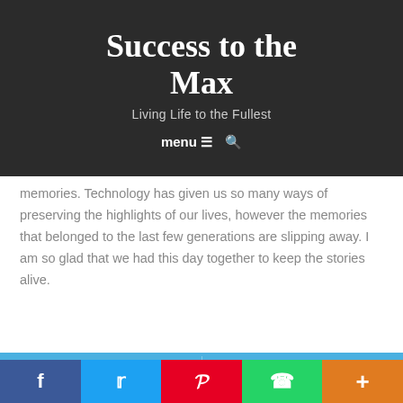Success to the Max
Living Life to the Fullest
menu ≡ 🔍
memories. Technology has given us so many ways of preserving the highlights of our lives, however the memories that belonged to the last few generations are slipping away. I am so glad that we had this day together to keep the stories alive.
◄ Sometimes You Don't Have to Go Somewhere   It's Time to Take Out the Hot Water Bottle ►